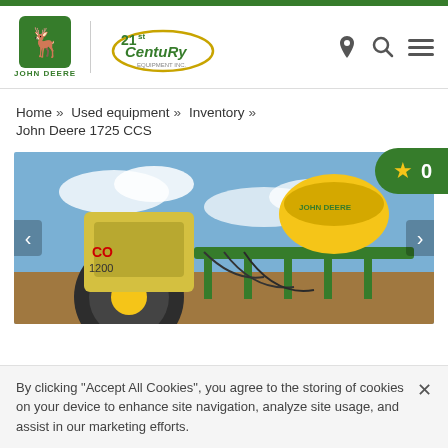[Figure (logo): John Deere and 21st Century Equipment logos side by side, with navigation icons (location pin, search, hamburger menu)]
Home » Used equipment » Inventory » John Deere 1725 CCS
[Figure (photo): John Deere 1725 CCS planter equipment in field, green and yellow machinery with seed hoppers visible]
By clicking "Accept All Cookies", you agree to the storing of cookies on your device to enhance site navigation, analyze site usage, and assist in our marketing efforts.